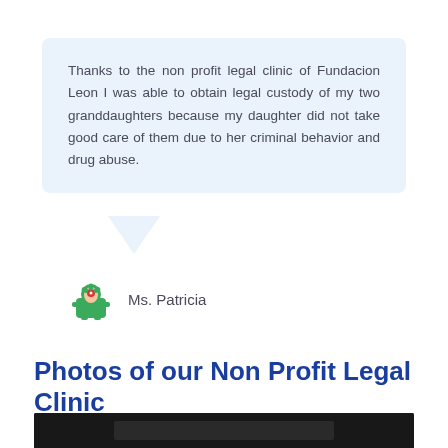Thanks to the non profit legal clinic of Fundacion Leon I was able to obtain legal custody of my two granddaughters because my daughter did not take good care of them due to her criminal behavior and drug abuse.
Ms. Patricia
Photos of our Non Profit Legal Clinic
[Figure (photo): Dark background photo strip at the bottom of the page, partially visible]